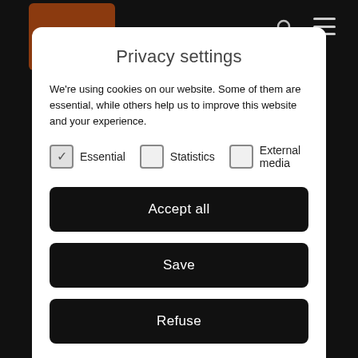[Figure (screenshot): Dark background with brown logo box top-left showing partial italic text 'Ghit', search icon and hamburger menu icon top-right]
Privacy settings
We're using cookies on our website. Some of them are essential, while others help us to improve this website and your experience.
Essential (checked), Statistics (unchecked), External media (unchecked)
Accept all
Save
Refuse
Custom privacy settings
Cookie details | Privacy policy | Imprint